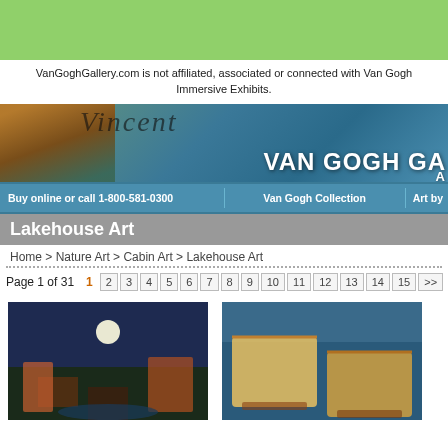[Figure (photo): Green advertisement banner at the top of the page]
VanGoghGallery.com is not affiliated, associated or connected with Van Gogh Immersive Exhibits.
[Figure (photo): Van Gogh Gallery website banner showing portrait of Van Gogh and text 'VAN GOGH GA' with script 'Vincent']
Buy online or call 1-800-581-0300   Van Gogh Collection   Art by
Lakehouse Art
Home > Nature Art > Cabin Art > Lakehouse Art
Page 1 of 31   1  2  3  4  5  6  7  8  9  10  11  12  13  14  15  >>
[Figure (photo): Lakehouse painting showing a moonlit cabin scene with waterfall and autumn trees]
[Figure (photo): Painting of two colorful rowboats on blue water]